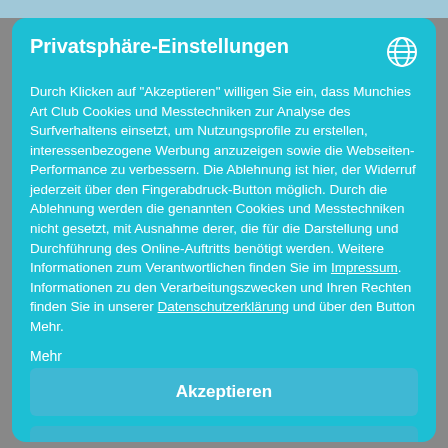Privatsphäre-Einstellungen
Durch Klicken auf "Akzeptieren" willigen Sie ein, dass Munchies Art Club Cookies und Messtechniken zur Analyse des Surfverhaltens einsetzt, um Nutzungsprofile zu erstellen, interessenbezogene Werbung anzuzeigen sowie die Webseiten-Performance zu verbessern. Die Ablehnung ist hier, der Widerruf jederzeit über den Fingerabdruck-Button möglich. Durch die Ablehnung werden die genannten Cookies und Messtechniken nicht gesetzt, mit Ausnahme derer, die für die Darstellung und Durchführung des Online-Auftritts benötigt werden. Weitere Informationen zum Verantwortlichen finden Sie im Impressum. Informationen zu den Verarbeitungszwecken und Ihren Rechten finden Sie in unserer Datenschutzerklärung und über den Button Mehr.
Mehr
Akzeptieren
Ablehnen
Powered by Usercentrics Consent Management & Trusted Shops